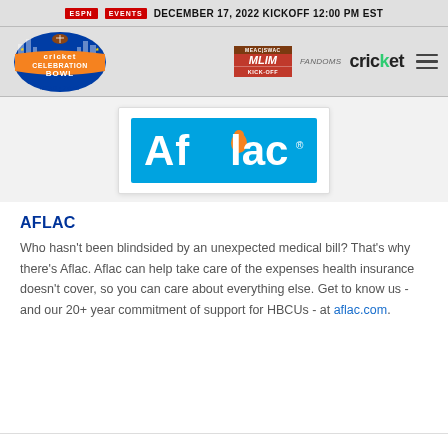ESPN EVENTS  DECEMBER 17, 2022 KICKOFF 12:00 PM EST
[Figure (logo): Cricket Celebration Bowl logo with MEAC SWAC branding, orange and blue circular logo with football, nav bar with MEAC SWAC Kick-Off badge, FANDOMS text, Cricket wireless wordmark, and hamburger menu]
[Figure (logo): Aflac logo on blue background inside white card]
AFLAC
Who hasn't been blindsided by an unexpected medical bill? That's why there's Aflac. Aflac can help take care of the expenses health insurance doesn't cover, so you can care about everything else. Get to know us - and our 20+ year commitment of support for HBCUs - at aflac.com.